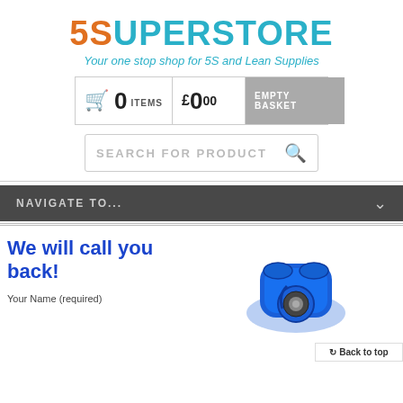[Figure (logo): 5Superstore logo: '5S' in orange, 'UPERSTORE' in teal/cyan]
Your one stop shop for 5S and Lean Supplies
[Figure (infographic): Shopping basket widget showing 0 items, £0.00, and Empty Basket button]
[Figure (infographic): Search bar with placeholder text SEARCH FOR PRODUCT and magnifier icon]
[Figure (infographic): Dark navigation bar with NAVIGATE TO... text and chevron]
We will call you back!
Your Name (required)
[Figure (photo): Blue vintage telephone handset]